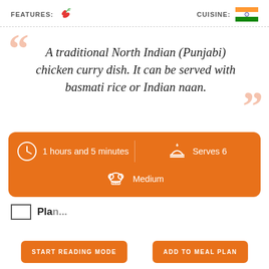FEATURES: 🌶 CUISINE: [Indian flag]
A traditional North Indian (Punjabi) chicken curry dish. It can be served with basmati rice or Indian naan.
[Figure (infographic): Orange info bar showing: 1 hours and 5 minutes, Serves 6, Medium difficulty]
1 hours and 5 minutes
Serves 6
Medium
Plan...
START READING MODE
ADD TO MEAL PLAN